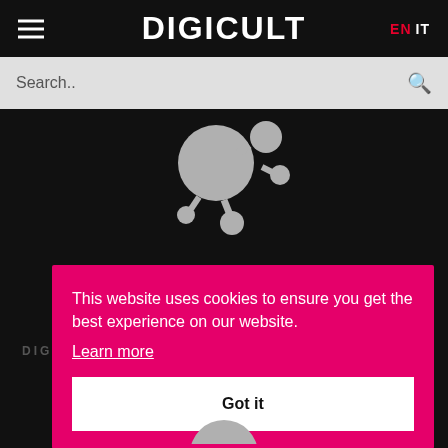DIGICULT
Search..
[Figure (logo): Digicult molecule/bubble logo in gray on black background]
DIG
This website uses cookies to ensure you get the best experience on our website.
Learn more
Got it